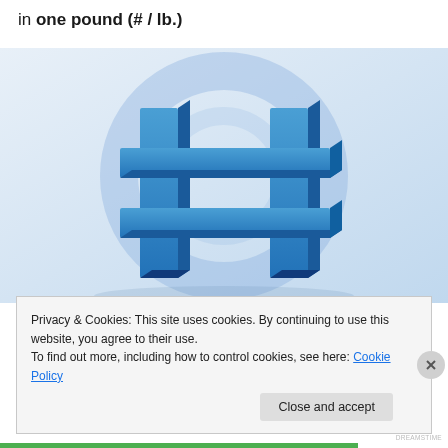in one pound (# / lb.)
[Figure (photo): 3D blue hash/pound symbol (#) on a light background with a watermark circle overlay]
Privacy & Cookies: This site uses cookies. By continuing to use this website, you agree to their use.
To find out more, including how to control cookies, see here: Cookie Policy
Close and accept